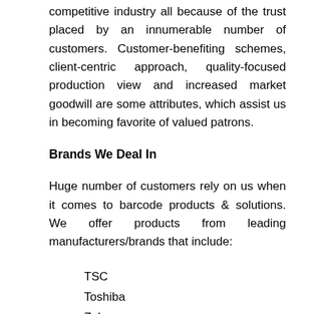competitive industry all because of the trust placed by an innumerable number of customers. Customer-benefiting schemes, client-centric approach, quality-focused production view and increased market goodwill are some attributes, which assist us in becoming favorite of valued patrons.
Brands We Deal In
Huge number of customers rely on us when it comes to barcode products & solutions. We offer products from leading manufacturers/brands that include:
TSC
Toshiba
Zebra
Honeywell